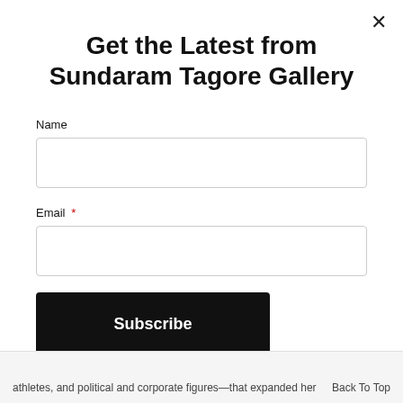Get the Latest from Sundaram Tagore Gallery
Name
Email *
Subscribe
athletes, and political and corporate figures—that expanded her
Back To Top